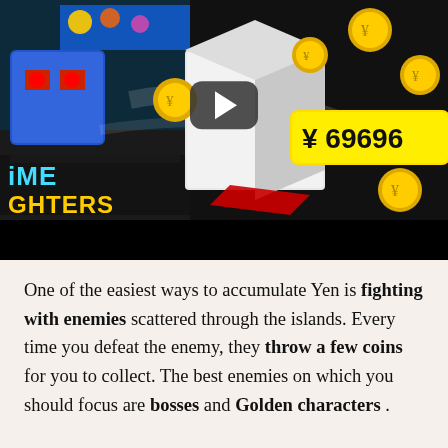[Figure (screenshot): YouTube-style video thumbnail showing an anime/cartoon fighting game called 'Anime Fighters'. The scene shows colorful characters, golden coins floating in the air, a price tag showing '¥ 696969', and text reading 'Anime Fighters' in stylized font. A dark play button is centered on the thumbnail.]
One of the easiest ways to accumulate Yen is fighting with enemies scattered through the islands. Every time you defeat the enemy, they throw a few coins for you to collect. The best enemies on which you should focus are bosses and Golden characters .